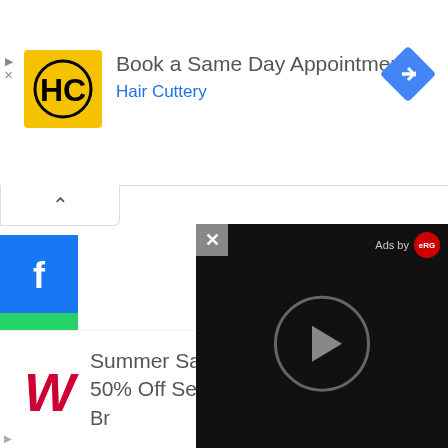[Figure (screenshot): Hair Cuttery ad banner with yellow HC logo, navigation icon, text 'Book a Same Day Appointment' and 'Hair Cuttery']
[Figure (screenshot): Collapse/up-arrow button below the ad banner]
[Figure (screenshot): Social media share buttons column: Facebook (blue), WhatsApp (green), Twitter (blue), Pinterest (red)]
[Figure (screenshot): Walgreens bottom ad: 'Summer Savings! B... 50% Off Select Wa...' with Walgreens logo]
[Figure (screenshot): Video player overlay in bottom-right: black background, X close button, 'Ads by eRG' label, play button circle]